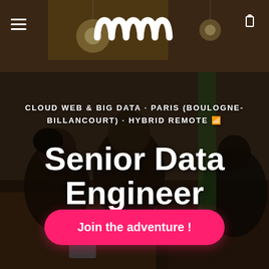[Figure (photo): Background photo of a modern co-working space / cafe interior with people working at tables. Warm lighting with pendant bulbs, green plants, and a dark overlay.]
[Figure (logo): MWM logo in white, displayed as a stylized wave/crown shape spelling MWM at the top center of the page.]
CLOUD WEB & BIG DATA · PARIS (BOULOGNE-BILLANCOURT) · HYBRID REMOTE
Senior Data Engineer
Join the adventure !